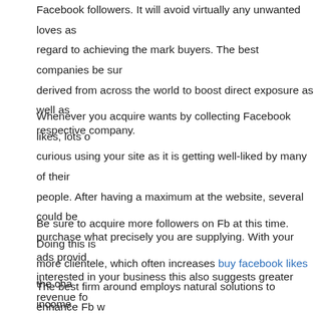Facebook followers. It will avoid virtually any unwanted loves as regard to achieving the mark buyers. The best companies be sur derived from across the world to boost direct exposure as well as respective company.
Whenever you acquire wants by collecting Facebook likes, lots o curious using your site as it is getting well-liked by many of their people. After having a maximum at the website, several could be purchase what precisely you are supplying. With your ads provid interested in your business this also suggests greater revenue fo
Be sure to acquire more followers on Fb at this time. Doing this is more clientele, which often increases buy facebook likes the cha income.
The best firm around employs natural solutions to enhance Fb w pleasure. Organic and natural only denotes the loves are from tru (support.tobsite.com) folks who will in all probability so if your